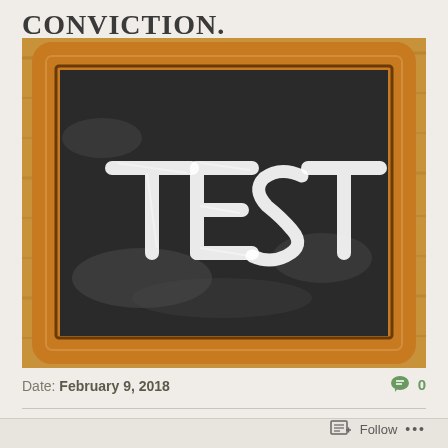CONVICTION.
[Figure (photo): A chalkboard with the word TEST written in chalk lettering, set in a wooden frame on a wooden surface]
Date: February 9, 2018
0